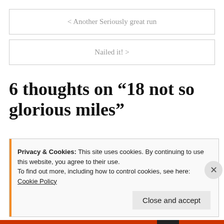< Another Seriously great run
Nailed it! >
6 thoughts on “18 not so glorious miles”
Privacy & Cookies: This site uses cookies. By continuing to use this website, you agree to their use.
To find out more, including how to control cookies, see here:
Cookie Policy
Close and accept